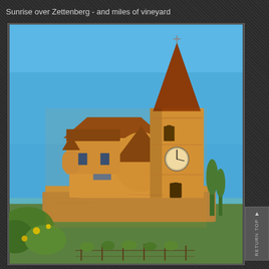Sunrise over Zettenberg - and miles of vineyard
[Figure (photo): Photograph of a medieval church with a tall pointed spire and clock tower, bathed in warm golden sunrise light, surrounded by green vineyards in the foreground and a clear blue sky above. The church has Romanesque/Gothic architecture with stone walls, a round turret, and terracotta roof tiles. Identified as Zettenberg church in Alsace.]
RETURN TOP